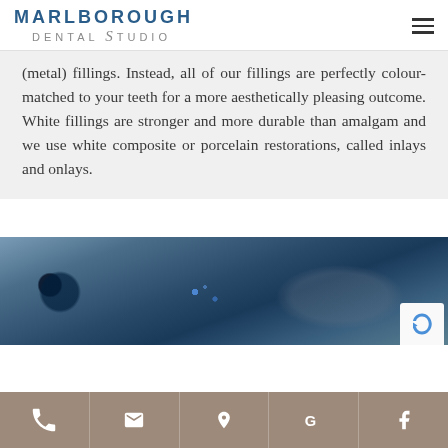MARLBOROUGH DENTAL STUDIO
(metal) fillings. Instead, all of our fillings are perfectly colour-matched to your teeth for a more aesthetically pleasing outcome. White fillings are stronger and more durable than amalgam and we use white composite or porcelain restorations, called inlays and onlays.
[Figure (photo): Close-up blurred photo of dental equipment with blue bokeh lights]
Phone, Email, Location, Google, Facebook contact icons